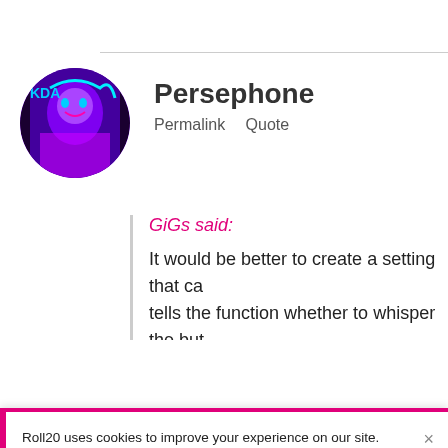[Figure (photo): Circular avatar of user Persephone showing a purple fantasy character]
Persephone
Permalink   Quote
GiGs said:
It would be better to create a setting that ca... tells the function whether to whisper the but... make it more universal: some players (not ju... buttons that whisper to them, too.
Roll20 uses cookies to improve your experience on our site. Cookies enable you to enjoy certain features, social sharing functionality, and tailor message and display ads to your interests on our site and others. They also help us understand how our site is being used. By continuing to use our site, you consent to our use of cookies. Update your cookie preferences here.
being whispered for now.